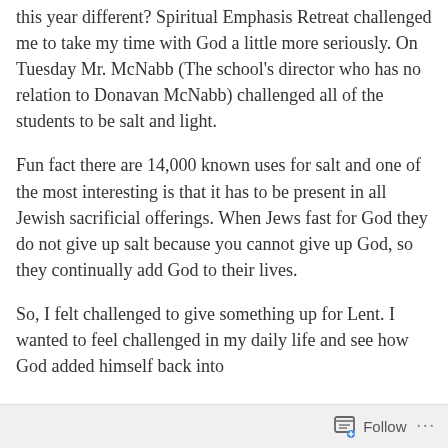this year different?  Spiritual Emphasis Retreat challenged me to take my time with God a little more seriously.  On Tuesday Mr. McNabb (The school's director who has no relation to Donavan McNabb) challenged all of the students to be salt and light.
Fun fact there are 14,000 known uses for salt and one of the most interesting is that it has to be present in all Jewish sacrificial offerings.  When Jews fast for God they do not give up salt because you cannot give up God, so they continually add God to their lives.
So, I felt challenged to give something up for Lent.  I wanted to feel challenged in my daily life and see how God added himself back into
Follow ···